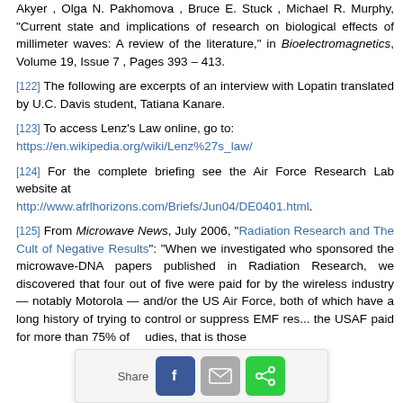Akyer, Olga N. Pakhomova, Bruce E. Stuck, Michael R. Murphy, "Current state and implications of research on biological effects of millimeter waves: A review of the literature," in Bioelectromagnetics, Volume 19, Issue 7, Pages 393 – 413.
[122] The following are excerpts of an interview with Lopatin translated by U.C. Davis student, Tatiana Kanare.
[123] To access Lenz's Law online, go to: https://en.wikipedia.org/wiki/Lenz%27s_law/
[124] For the complete briefing see the Air Force Research Lab website at http://www.afrlhorizons.com/Briefs/Jun04/DE0401.html.
[125] From Microwave News, July 2006, "Radiation Research and The Cult of Negative Results": "When we investigated who sponsored the microwave-DNA papers published in Radiation Research, we discovered that four out of five were paid for by the wireless industry — notably Motorola — and/or the US Air Force, both of which have a long history of trying to control or suppress EMF res... the USAF paid for more than 75% of ...udies, that is those